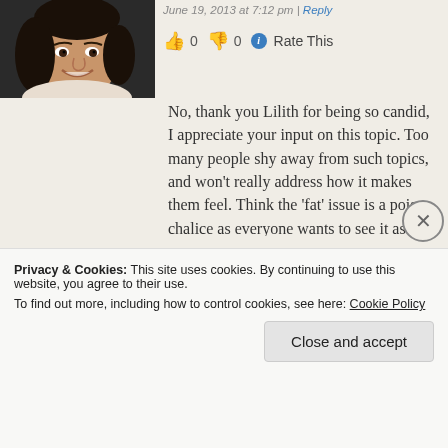[Figure (photo): Avatar photo of a young woman with dark hair, smiling, cropped headshot]
June 19, 2013 at 7:12 pm | Reply
👍 0 👎 0 ℹ Rate This
No, thank you Lilith for being so candid, I appreciate your input on this topic. Too many people shy away from such topics, and won't really address how it makes them feel. Think the 'fat' issue is a poison chalice as everyone wants to see it as being linked to illness and death. Yet, so to are most things, and they are not so ridiculed.
I think more women would admit to feeling pressures from society, if given the chance, and more would 'rebel' like Christina A did too!!! I am over a size 12, and am also classed as plus size – UK size 14 is a plus
Privacy & Cookies: This site uses cookies. By continuing to use this website, you agree to their use.
To find out more, including how to control cookies, see here: Cookie Policy
Close and accept